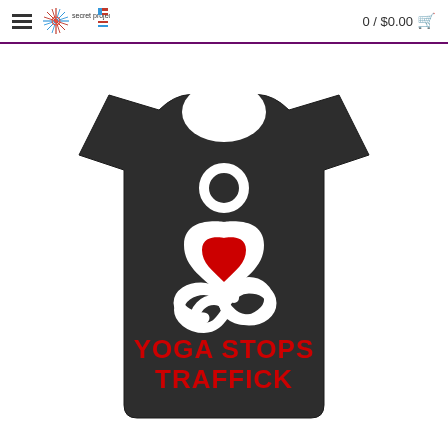≡  secret projects  0 / $0.00 🛒
[Figure (photo): Black t-shirt with white yoga figure logo (circle head, heart-shaped torso, infinity symbol base), red heart in center of logo, and red bold text 'YOGA STOPS TRAFFICK' on the chest area]